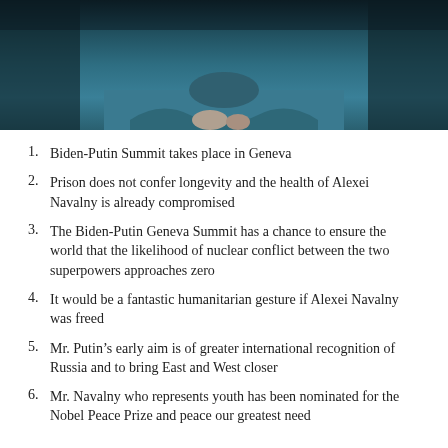[Figure (photo): Person wearing a teal/blue outfit with arms crossed, photographed from chest up against a dark background]
Biden-Putin Summit takes place in Geneva
Prison does not confer longevity and the health of Alexei Navalny is already compromised
The Biden-Putin Geneva Summit has a chance to ensure the world that the likelihood of nuclear conflict between the two superpowers approaches zero
It would be a fantastic humanitarian gesture if Alexei Navalny was freed
Mr. Putin’s early aim is of greater international recognition of Russia and to bring East and West closer
Mr. Navalny who represents youth has been nominated for the Nobel Peace Prize and peace our greatest need